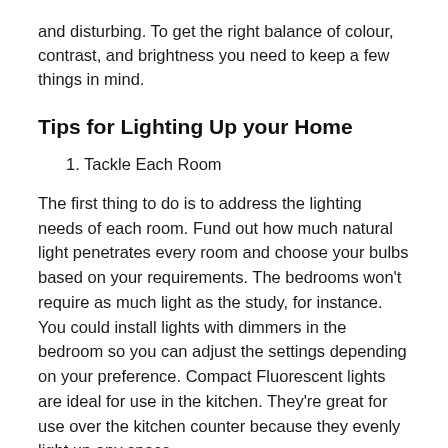and disturbing. To get the right balance of colour, contrast, and brightness you need to keep a few things in mind.
Tips for Lighting Up your Home
1. Tackle Each Room
The first thing to do is to address the lighting needs of each room. Fund out how much natural light penetrates every room and choose your bulbs based on your requirements. The bedrooms won't require as much light as the study, for instance. You could install lights with dimmers in the bedroom so you can adjust the settings depending on your preference. Compact Fluorescent lights are ideal for use in the kitchen. They're great for use over the kitchen counter because they evenly light up any space.
2. Creating Ambient Light